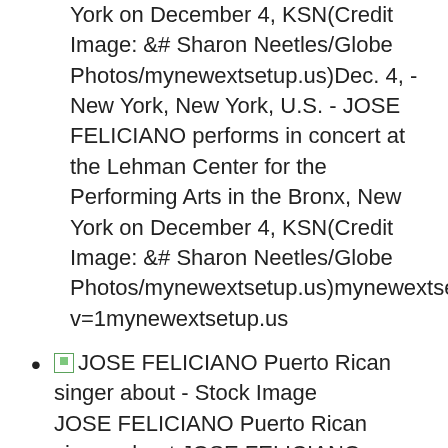York on December 4, KSN(Credit Image: &# Sharon Neetles/Globe Photos/mynewextsetup.us)Dec. 4, - New York, New York, U.S. - JOSE FELICIANO performs in concert at the Lehman Center for the Performing Arts in the Bronx, New York on December 4, KSN(Credit Image: &# Sharon Neetles/Globe Photos/mynewextsetup.us)mynewextsetup.us?v=1mynewextsetup.us
[thumbnail] JOSE FELICIANO Puerto Rican singer about - Stock Image
JOSE FELICIANO Puerto Rican singer about JOSE FELICIANO Puerto Rican singer about mynewextsetup.us?v=1mynewextsetup.us
[thumbnail] Rust, Germany. 19th Dec, 19th Jose Carreras Gala at Europapark in Rust, Germany on Thursday, with Jose Feliciano (middle) Credit:
Mandoga Media/Alamy Live News - Stock Image
Rust, Germany. 19th Dec, 19th Jose Carreras Gala